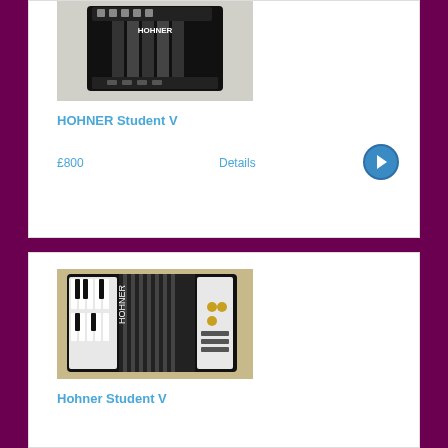[Figure (photo): Black Hohner Student V accordion viewed from the top/front, showing buttons and bellows]
HOHNER Student V
£800
Details
[Figure (photo): Black and white Hohner Student V piano accordion with keyboard and bellows visible]
Hohner Student V